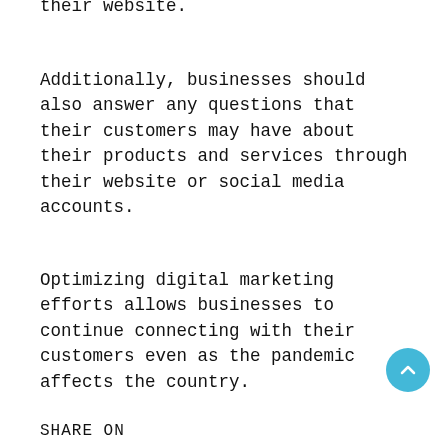their website.
Additionally, businesses should also answer any questions that their customers may have about their products and services through their website or social media accounts.
Optimizing digital marketing efforts allows businesses to continue connecting with their customers even as the pandemic affects the country.
SHARE ON